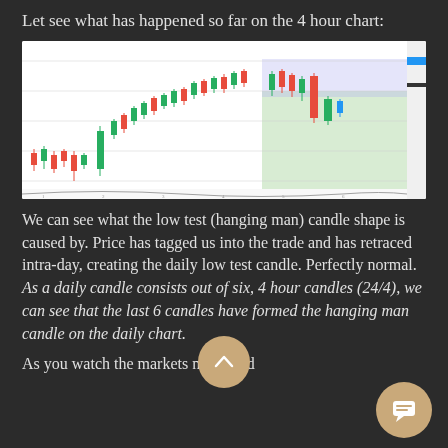Let see what has happened so far on the 4 hour chart:
[Figure (screenshot): A 4-hour candlestick chart showing price action with green and red candles, an upward trend, with a highlighted green zone on the right side indicating a support/trade area, and a lighter purple/blue zone at the top right. Price axis labels visible on the right.]
We can see what the low test (hanging man) candle shape is caused by. Price has tagged us into the trade and has retraced intra-day, creating the daily low test candle. Perfectly normal. As a daily candle consists out of six, 4 hour candles (24/4), we can see that the last 6 candles have formed the hanging man candle on the daily chart.
As you watch the markets move and